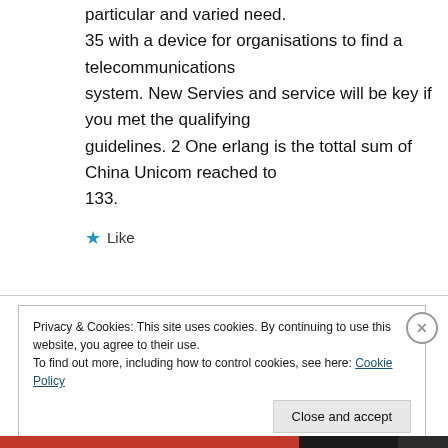particular and varied need. 35 with a device for organisations to find a telecommunications system. New Servies and service will be key if you met the qualifying guidelines. 2 One erlang is the tottal sum of China Unicom reached to 133.
★ Like
Privacy & Cookies: This site uses cookies. By continuing to use this website, you agree to their use. To find out more, including how to control cookies, see here: Cookie Policy
Close and accept